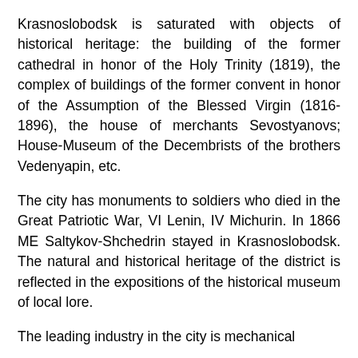Krasnoslobodsk is saturated with objects of historical heritage: the building of the former cathedral in honor of the Holy Trinity (1819), the complex of buildings of the former convent in honor of the Assumption of the Blessed Virgin (1816-1896), the house of merchants Sevostyanovs; House-Museum of the Decembrists of the brothers Vedenyapin, etc.
The city has monuments to soldiers who died in the Great Patriotic War, VI Lenin, IV Michurin. In 1866 ME Saltykov-Shchedrin stayed in Krasnoslobodsk. The natural and historical heritage of the district is reflected in the expositions of the historical museum of local lore.
The leading industry in the city is mechanical